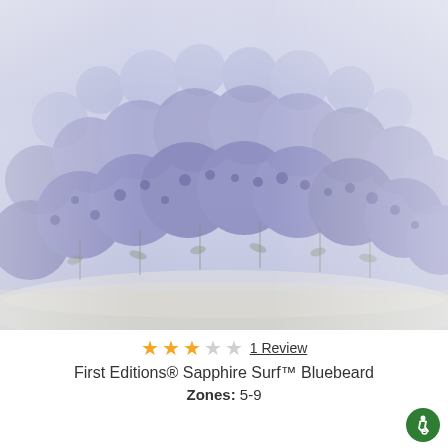[Figure (photo): Photograph of a dense mound of small lavender-blue flowers (Bluebeard shrub) with grayish-green foliage, photographed against a light background.]
★★★☆☆ 1 Review
First Editions® Sapphire Surf™ Bluebeard
Zones: 5-9